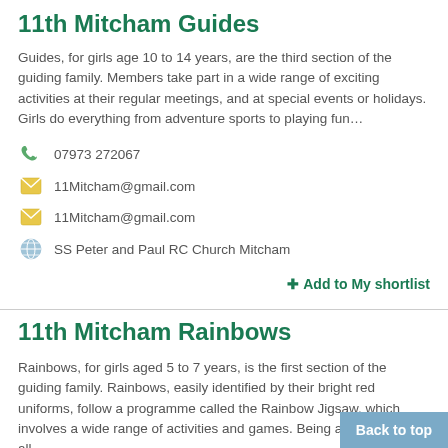11th Mitcham Guides
Guides, for girls age 10 to 14 years, are the third section of the guiding family. Members take part in a wide range of exciting activities at their regular meetings, and at special events or holidays. Girls do everything from adventure sports to playing fun…
07973 272067
11Mitcham@gmail.com
11Mitcham@gmail.com
SS Peter and Paul RC Church Mitcham
+ Add to My shortlist
11th Mitcham Rainbows
Rainbows, for girls aged 5 to 7 years, is the first section of the guiding family. Rainbows, easily identified by their bright red uniforms, follow a programme called the Rainbow Jigsaw, which involves a wide range of activities and games. Being a Rainbow is all…
07973 272067
Back to top